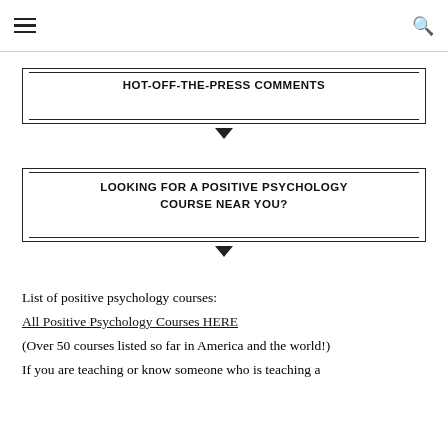≡  🔍
HOT-OFF-THE-PRESS COMMENTS
LOOKING FOR A POSITIVE PSYCHOLOGY COURSE NEAR YOU?
List of positive psychology courses:
All Positive Psychology Courses HERE
(Over 50 courses listed so far in America and the world!)
If you are teaching or know someone who is teaching a